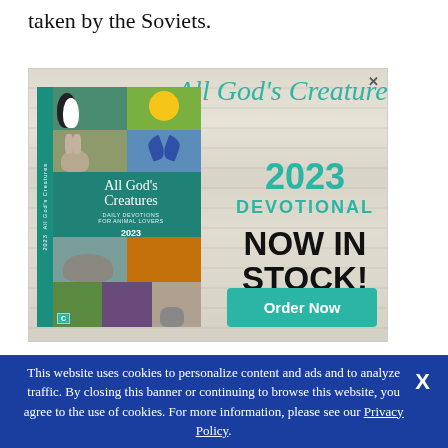taken by the Soviets.
[Figure (illustration): Advertisement for 'All God's Creatures 2023 Devotional' book. Shows a book cover with animal photos (penguins, butterfly, rabbit, manatee, kangaroo, kitten, etc.) on a teal background. Text on right side reads: All God's Creatures (cursive, teal), 2023 DEVOTIONAL (teal), NOW IN STOCK! (bold black), and a teal 'Order Now' button. Close X in top right.]
This website uses cookies to personalize content and ads and to analyze traffic. By closing this banner or continuing to browse this website, you agree to the use of cookies. For more information, please see our Privacy Policy.